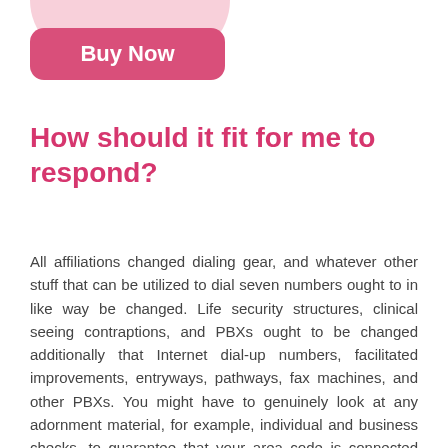[Figure (other): Pink decorative blob shape at top of page]
[Figure (other): Pink rounded rectangle button labeled Buy Now]
How should it fit for me to respond?
All affiliations changed dialing gear, and whatever other stuff that can be utilized to dial seven numbers ought to in like way be changed. Life security structures, clinical seeing contraptions, and PBXs ought to be changed additionally that Internet dial-up numbers, facilitated improvements, entryways, pathways, fax machines, and other PBXs. You might have to genuinely look at any adornment material, for example, individual and business checks, to guarantee that your area code is connected with your telephone